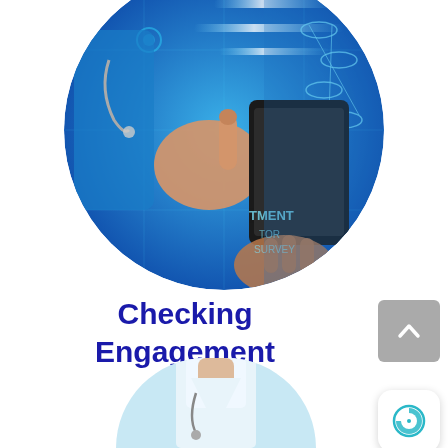[Figure (photo): Circular cropped photo of a medical professional with a stethoscope using a tablet, overlaid with blue digital health graphics including DNA strands, map pin icons, and text fragments like TMENT, SURVEY, on a blue background.]
Checking Engagement
[Figure (illustration): Grey rounded rectangle button with an upward-pointing chevron/caret arrow icon in white.]
[Figure (logo): White rounded square button with a teal/cyan circular clock or pie-chart style icon.]
[Figure (photo): Partial view of the top of a second circular photo showing a person in a white coat (doctor), cropped at the bottom of the page.]